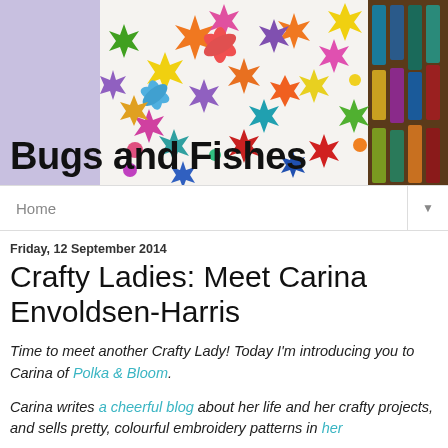[Figure (photo): Blog header banner showing colorful paper/felt flowers in many colors on white background with thread spools on the right side, and a lavender/purple panel on the left. The blog title 'Bugs and Fishes' appears in large bold black text at the bottom left of the banner.]
Home
Friday, 12 September 2014
Crafty Ladies: Meet Carina Envoldsen-Harris
Time to meet another Crafty Lady! Today I'm introducing you to Carina of Polka & Bloom.
Carina writes a cheerful blog about her life and her crafty projects, and sells pretty, colourful embroidery patterns in her